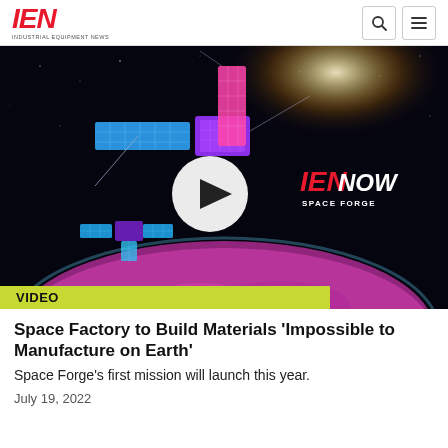IEN INDUSTRIAL EQUIPMENT NEWS
[Figure (screenshot): Video thumbnail showing two colorful satellite spacecraft (blue, purple, pink solar panels) orbiting above Earth with dramatic lighting and a sun flare in the background. A white play button circle is centered on the image. The IEN NOW and SPACE FORGE branding appears in red and white text in the upper right. A yellow-green VIDEO badge appears at the bottom left.]
Space Factory to Build Materials 'Impossible to Manufacture on Earth'
Space Forge's first mission will launch this year.
July 19, 2022